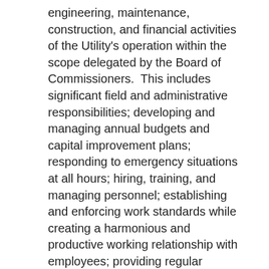engineering, maintenance, construction, and financial activities of the Utility's operation within the scope delegated by the Board of Commissioners.  This includes significant field and administrative responsibilities; developing and managing annual budgets and capital improvement plans; responding to emergency situations at all hours; hiring, training, and managing personnel; establishing and enforcing work standards while creating a harmonious and productive working relationship with employees; providing regular reports to the Board of Commissioners; and fostering good public relations.
Application Process
Compensation package will include competitive salary, paid vacation and holidays, life, health and dental insurance, and retirement plan administered by the Kentucky Public Pensions